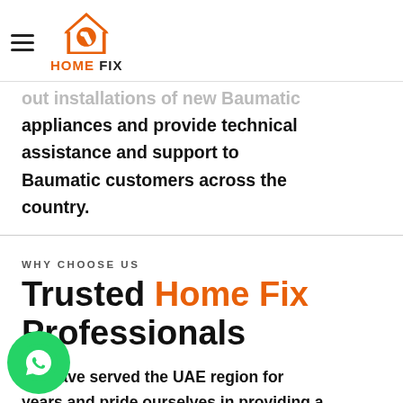Home Fix (logo with hamburger menu)
out installations of new Baumatic appliances and provide technical assistance and support to Baumatic customers across the country.
WHY CHOOSE US
Trusted Home Fix Professionals
We have served the UAE region for years and pride ourselves in providing a positive customer experience. At Home Fix, we offer installation services for